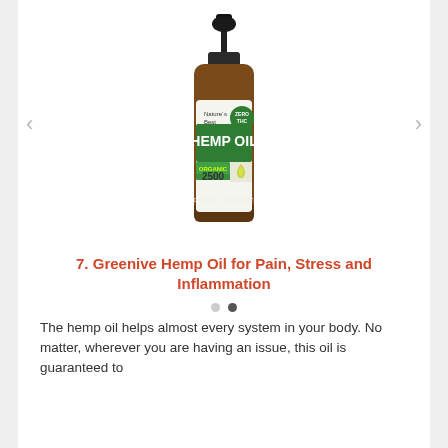[Figure (photo): Amber dropper bottle of Greenive Hemp Oil Organic 2500mg dietary supplement with green label. Label reads Nature's Best, ZERO THC, HEMP OIL, ORGANIC, 2500, DIETARY SUPPLEMENT. Navigation arrows on left and right sides of image.]
7. Greenive Hemp Oil for Pain, Stress and Inflammation
The hemp oil helps almost every system in your body. No matter, wherever you are having an issue, this oil is guaranteed to
• •